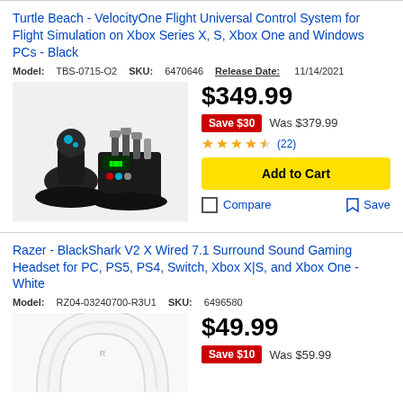Turtle Beach - VelocityOne Flight Universal Control System for Flight Simulation on Xbox Series X, S, Xbox One and Windows PCs - Black
Model: TBS-0715-O2   SKU: 6470646   Release Date: 11/14/2021
[Figure (photo): Turtle Beach VelocityOne Flight Universal Control System - flight stick and throttle unit with multiple buttons and levers in black]
$349.99
Save $30   Was $379.99
★★★★½ (22)
Add to Cart
Compare   Save
Razer - BlackShark V2 X Wired 7.1 Surround Sound Gaming Headset for PC, PS5, PS4, Switch, Xbox X|S, and Xbox One - White
Model: RZ04-03240700-R3U1   SKU: 6496580
[Figure (photo): Razer BlackShark V2 X gaming headset in white, showing the headband arc]
$49.99
Save $10   Was $59.99